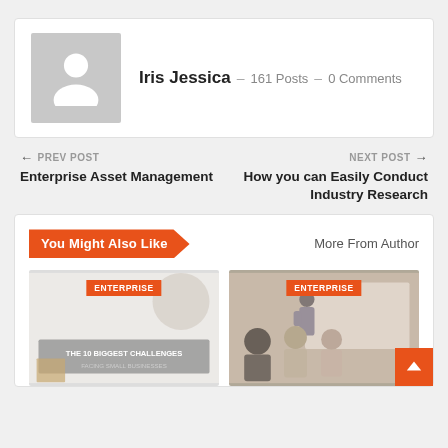[Figure (illustration): Author profile card with gray placeholder avatar (person silhouette icon), name Iris Jessica, 161 Posts, 0 Comments]
Iris Jessica – 161 Posts – 0 Comments
← PREV POST
Enterprise Asset Management
NEXT POST →
How you can Easily Conduct Industry Research
You Might Also Like
More From Author
[Figure (photo): Article thumbnail with ENTERPRISE tag badge; background shows text: THE 10 BIGGEST CHALLENGES FACING SMALL BUSINESSES]
[Figure (photo): Article thumbnail with ENTERPRISE tag badge; photo of a woman presenting to a group of seated people at a whiteboard]